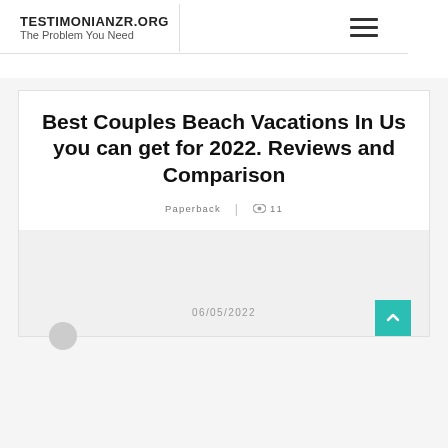TESTIMONIANZR.ORG
The Problem You Need
Best Couples Beach Vacations In Us you can get for 2022. Reviews and Comparison
Paperback | 11
06/05/2022